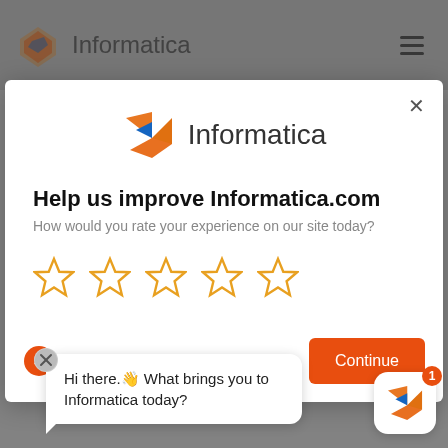[Figure (screenshot): Informatica website screenshot showing a modal dialog asking users to rate their experience, with 5 empty star ratings, Cancel and Continue buttons, and a chat widget in the bottom right corner.]
Help us improve Informatica.com
How would you rate your experience on our site today?
Cancel
Continue
Hi there.👋 What brings you to Informatica today?